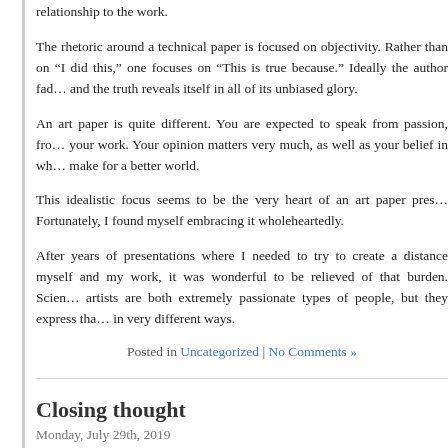relationship to the work.
The rhetoric around a technical paper is focused on objectivity. Rather than on “I did this,” one focuses on “This is true because.” Ideally the author fades and the truth reveals itself in all of its unbiased glory.
An art paper is quite different. You are expected to speak from passion, from your work. Your opinion matters very much, as well as your belief in wh… make for a better world.
This idealistic focus seems to be the very heart of an art paper pres… Fortunately, I found myself embracing it wholeheartedly.
After years of presentations where I needed to try to create a distance myself and my work, it was wonderful to be relieved of that burden. Scien… artists are both extremely passionate types of people, but they express tha… in very different ways.
Posted in Uncategorized | No Comments »
Closing thought
Monday, July 29th, 2019
Today I published a post on our Future Reality Lab blog about our win… ACM/SIGGRAPH 2019 Best Art Paper Award. In this post I focus on a p… aspect of that paper.
Our work on that paper aimed to change the tone of the conversation ab…